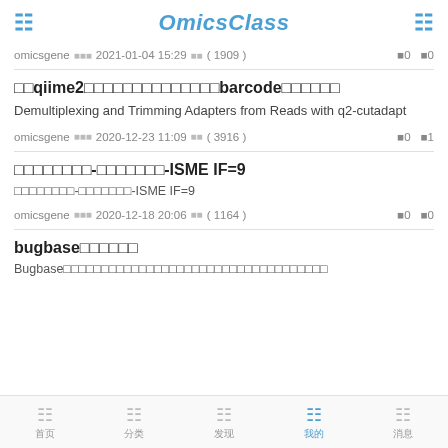OmicsClass
omicsgene  发布 2021-01-04 15:29  浏览 ( 1909 )  👍0  💬0
用qiime2进行扩增子测序多样本barcode拆分建库
Demultiplexing and Trimming Adapters from Reads with q2-cutadapt
omicsgene  发布 2020-12-23 11:09  浏览 ( 3916 )  👍0  💬1
扩增子测序-宏基因组-ISME IF=9
扩增子测序-宏基因组-ISME IF=9
omicsgene  发布 2020-12-18 20:06  浏览 ( 1164 )  👍0  💬0
bugbase功能预测
Bugbase对微生物组进行表型水平的功能预测，预测结果包含多种
首页  分类  发现  我的  消息